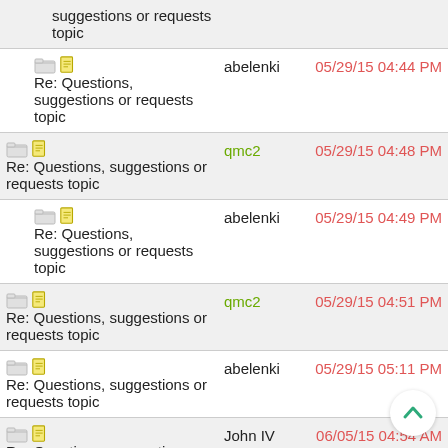suggestions or requests topic
Re: Questions, suggestions or requests topic — abelenki — 05/29/15 04:44 PM
Re: Questions, suggestions or requests topic — qmc2 — 05/29/15 04:48 PM
Re: Questions, suggestions or requests topic — abelenki — 05/29/15 04:49 PM
Re: Questions, suggestions or requests topic — qmc2 — 05/29/15 04:51 PM
Re: Questions, suggestions or requests topic — abelenki — 05/29/15 05:11 PM
Re: Questions, suggestions or requests topic — John IV — 06/05/15 04:54 AM
Re: Questions, suggestions or requests topic — qmc2 — 06/05/15 06:55 AM
Re: Questions, suggestions or requests topic — NLS — 06/23/15 07:50 PM
Re: Questions, — Shideravan — 06/24/15 01:41 AM